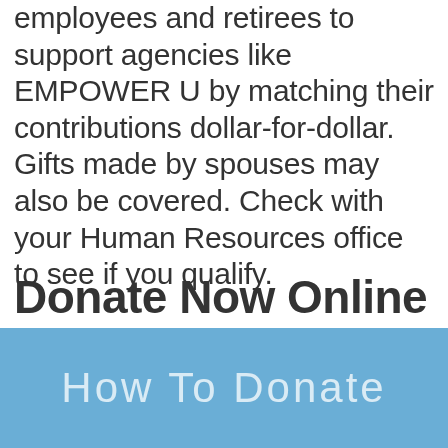employees and retirees to support agencies like EMPOWER U by matching their contributions dollar-for-dollar. Gifts made by spouses may also be covered. Check with your Human Resources office to see if you qualify.
Donate Now Online
How To Donate